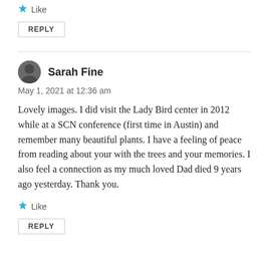★ Like
REPLY
Sarah Fine
May 1, 2021 at 12:36 am
Lovely images. I did visit the Lady Bird center in 2012 while at a SCN conference (first time in Austin) and remember many beautiful plants. I have a feeling of peace from reading about your with the trees and your memories. I also feel a connection as my much loved Dad died 9 years ago yesterday. Thank you.
★ Like
REPLY